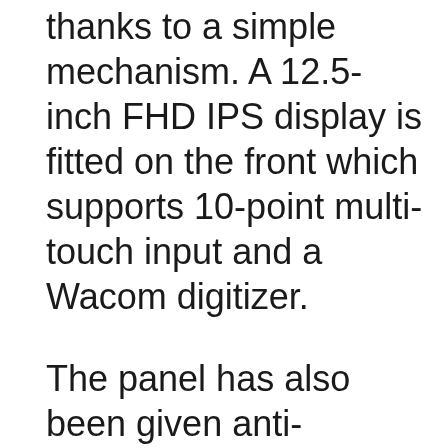thanks to a simple mechanism. A 12.5-inch FHD IPS display is fitted on the front which supports 10-point multi-touch input and a Wacom digitizer.
The panel has also been given anti-fingerprint and anti-glare coatings.